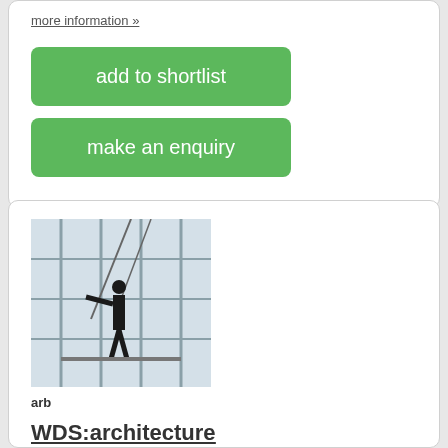more information »
add to shortlist
make an enquiry
[Figure (photo): Construction worker standing on scaffolding inside a building with large windows]
arb
WDS:architecture
Stafford, ST19 5QB
Wood Design Services offer architectural services (residential and commercial)